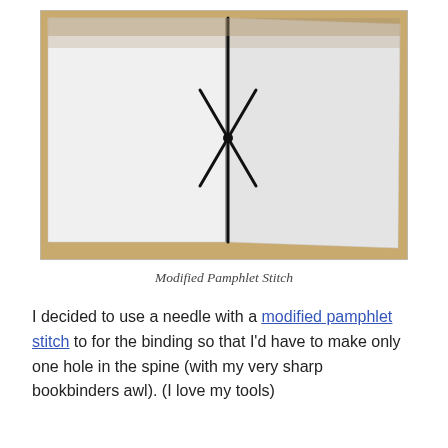[Figure (photo): An open book or pamphlet with white/light gray pages, showing a black thread stitched through the spine in a pamphlet stitch pattern, forming an X-like crossing at the center of the spine. The background is a tan/cardboard surface.]
Modified Pamphlet Stitch
I decided to use a needle with a modified pamphlet stitch to for the binding so that I'd have to make only one hole in the spine (with my very sharp bookbinders awl). (I love my tools)